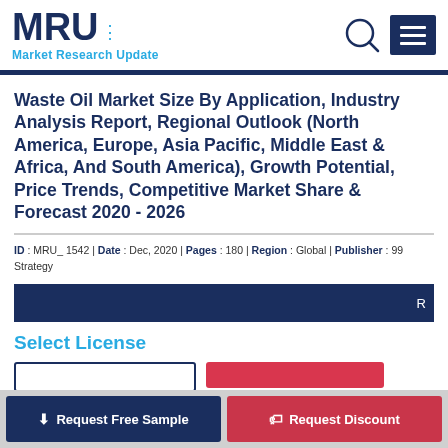[Figure (logo): MRU Market Research Update logo with search and menu icons]
Waste Oil Market Size By Application, Industry Analysis Report, Regional Outlook (North America, Europe, Asia Pacific, Middle East & Africa, And South America), Growth Potential, Price Trends, Competitive Market Share & Forecast 2020 - 2026
ID : MRU_ 1542 | Date : Dec, 2020 | Pages : 180 | Region : Global | Publisher : 99 Strategy
Select License
Request Free Sample
Request Discount